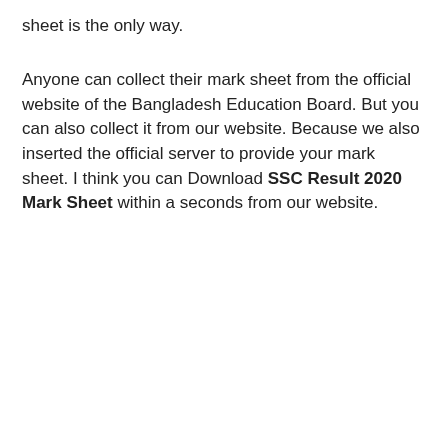sheet is the only way.
Anyone can collect their mark sheet from the official website of the Bangladesh Education Board. But you can also collect it from our website. Because we also inserted the official server to provide your mark sheet. I think you can Download SSC Result 2020 Mark Sheet within a seconds from our website.